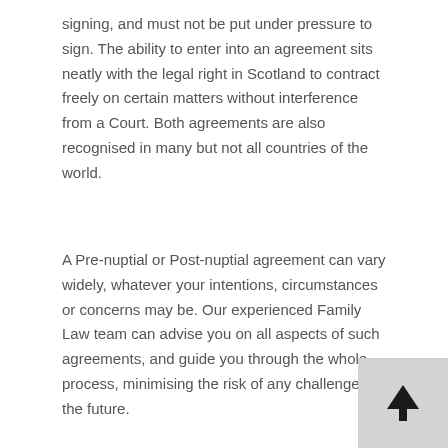signing, and must not be put under pressure to sign. The ability to enter into an agreement sits neatly with the legal right in Scotland to contract freely on certain matters without interference from a Court. Both agreements are also recognised in many but not all countries of the world.
A Pre-nuptial or Post-nuptial agreement can vary widely, whatever your intentions, circumstances or concerns may be. Our experienced Family Law team can advise you on all aspects of such agreements, and guide you through the whole process, minimising the risk of any challenges in the future.
For information and advice on any family law related matter, please contact us by telephone on 0141 375 1222 or by completing our online